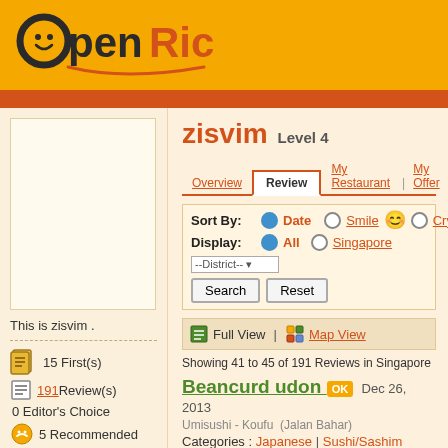OpenRice
zisvim  Level 4
Overview | Review | My Restaurant | My Offer
Sort By: Date  Smile  Cry
Display: All  Singapore  --District--
Search  Reset
Full View | Map View
Showing 41 to 45 of 191 Reviews in Singapore
This is zisvim .
15 First(s)
191 Review(s)
0 Editor's Choice
5 Recommended
345 View(s)
Beancurd udon  OK  Dec 26, 2013
Umisushi - Koufu  (Jalan Bahar)
Categories : Japanese | Sushi/Sashim